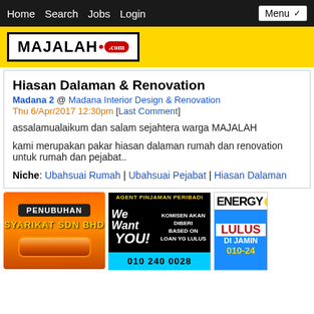Home Search Jobs Login  Menu
[Figure (logo): MAJALAH.com logo in black text with red dot and red oval .com badge, inside black border box on yellow background]
Hiasan Dalaman & Renovation
Madana 2 @ Madana Interior Design & Renovation
Thu 6/Apr/2017 12:30pm [Last Comment]
assalamualaikum dan salam sejahtera warga MAJALAH
kami merupakan pakar hiasan dalaman rumah dan renovation untuk rumah dan pejabat..
Niche: Ubahsuai Rumah | Ubahsuai Pejabat | Hiasan Dalaman
[Figure (infographic): Orange ad banner: PENUBUHAN SYARIKAT SDN BHD with orange button]
[Figure (infographic): Black and white ad: AGENT PINJAMAN PERIBADI - We Want You! KOMISEN AKAN DIBERI BASED ON LOAN YG LULUS, phone 010 240 0028]
[Figure (infographic): ENERGY ad with blue background: LULUS DI JAMIN 010-24]